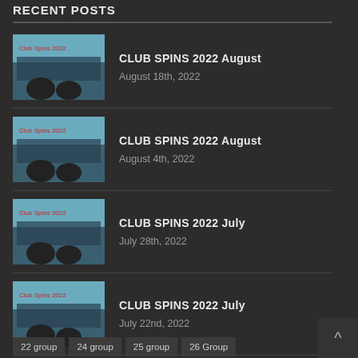RECENT POSTS
CLUB SPINS 2022 August | August 18th, 2022
CLUB SPINS 2022 August | August 4th, 2022
CLUB SPINS 2022 July | July 28th, 2022
CLUB SPINS 2022 July | July 22nd, 2022
CLUB SPINS 2022 July | July 15th, 2022
TAGS
22 group
24 group
25 group
26 Group